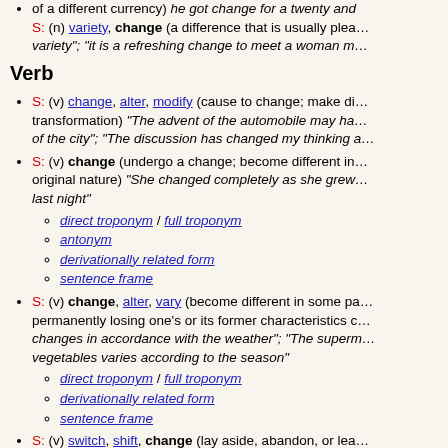S: (n) variety, change (a difference that is usually plea... variety"; "it is a refreshing change to meet a woman m...
Verb
S: (v) change, alter, modify (cause to change; make di... transformation) "The advent of the automobile may ha... of the city"; "The discussion has changed my thinking a...
S: (v) change (undergo a change; become different in... original nature) "She changed completely as she grew... last night"
direct troponym / full troponym
antonym
derivationally related form
sentence frame
S: (v) change, alter, vary (become different in some pa... permanently losing one's or its former characteristics c... changes in accordance with the weather"; "The superm... vegetables varies according to the season"
direct troponym / full troponym
derivationally related form
sentence frame
S: (v) switch, shift, change (lay aside, abandon, or lea... different brand of beer"; "She switched psychiatrists"; ...